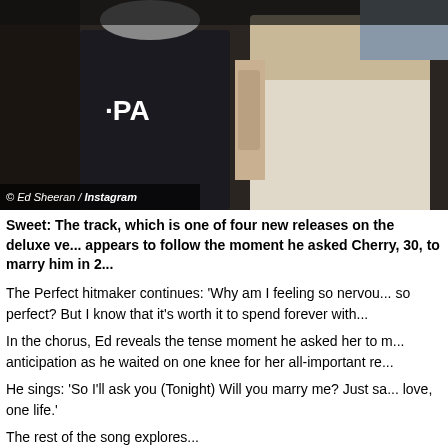[Figure (photo): Two people standing together, one wearing a dark shirt with 'PA' text visible. Photo credited to Ed Sheeran / Instagram.]
Sweet: The track, which is one of four new releases on the deluxe ve... appears to follow the moment he asked Cherry, 30, to marry him in 2...
The Perfect hitmaker continues: 'Why am I feeling so nervou... so perfect? But I know that it's worth it to spend forever with...
In the chorus, Ed reveals the tense moment he asked her to m... anticipation as he waited on one knee for her all-important re...
He sings: 'So I'll ask you (Tonight) Will you marry me? Just sa... love, one life.'
The rest of the song explores...